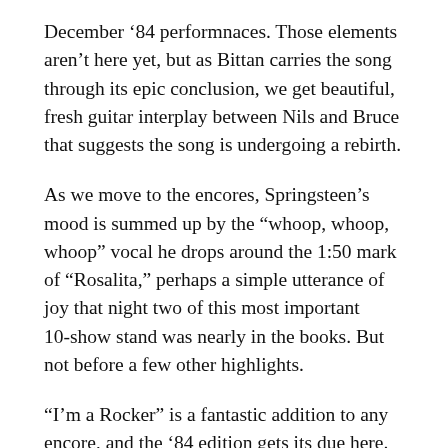December ‘84 performnaces. Those elements aren’t here yet, but as Bittan carries the song through its epic conclusion, we get beautiful, fresh guitar interplay between Nils and Bruce that suggests the song is undergoing a rebirth.
As we move to the encores, Springsteen’s mood is summed up by the “whoop, whoop, whoop” vocal he drops around the 1:50 mark of “Rosalita,” perhaps a simple utterance of joy that night two of this most important 10-show stand was nearly in the books. But not before a few other highlights.
“I’m a Rocker” is a fantastic addition to any encore, and the ‘84 edition gets its due here.